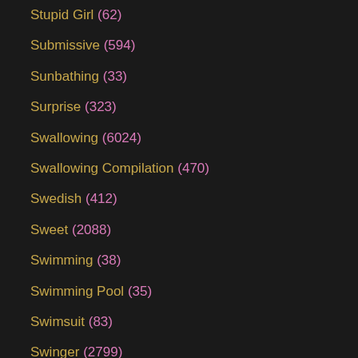Stupid Girl (62)
Submissive (594)
Sunbathing (33)
Surprise (323)
Swallowing (6024)
Swallowing Compilation (470)
Swedish (412)
Sweet (2088)
Swimming (38)
Swimming Pool (35)
Swimsuit (83)
Swinger (2799)
Swollen Pussy (13)
Sybian (93)
T-girl (460)
Taboo (359)